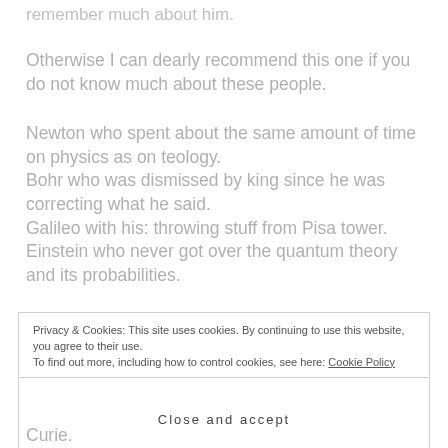remember much about him.
Otherwise I can dearly recommend this one if you do not know much about these people.
Newton who spent about the same amount of time on physics as on teology.
Bohr who was dismissed by king since he was correcting what he said.
Galileo with his: throwing stuff from Pisa tower.
Einstein who never got over the quantum theory and its probabilities.
Privacy & Cookies: This site uses cookies. By continuing to use this website, you agree to their use.
To find out more, including how to control cookies, see here: Cookie Policy
Close and accept
Curie.